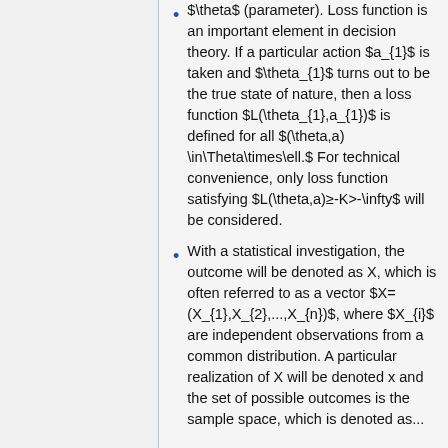$\theta$ (parameter). Loss function is an important element in decision theory. If a particular action $a_{1}$ is taken and $\theta_{1}$ turns out to be the true state of nature, then a loss function $L(\theta_{1},a_{1})$ is defined for all $(\theta,a) \in\Theta\times\ell.$ For technical convenience, only loss function satisfying $L(\theta,a)\geq-K>-\infty$ will be considered.
With a statistical investigation, the outcome will be denoted as X, which is often referred to as a vector $X=(X_{1},X_{2},...,X_{n})$, where $X_{i}$ are independent observations from a common distribution. A particular realization of X will be denoted x and the set of possible outcomes is the sample space, which is denoted as...